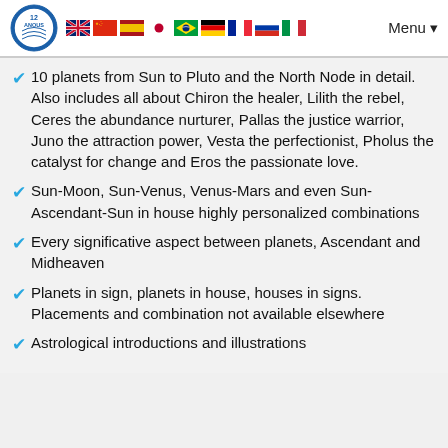12 Anous logo with flags and Menu
10 planets from Sun to Pluto and the North Node in detail. Also includes all about Chiron the healer, Lilith the rebel, Ceres the abundance nurturer, Pallas the justice warrior, Juno the attraction power, Vesta the perfectionist, Pholus the catalyst for change and Eros the passionate love.
Sun-Moon, Sun-Venus, Venus-Mars and even Sun-Ascendant-Sun in house highly personalized combinations
Every significative aspect between planets, Ascendant and Midheaven
Planets in sign, planets in house, houses in signs. Placements and combination not available elsewhere
Astrological introductions and illustrations